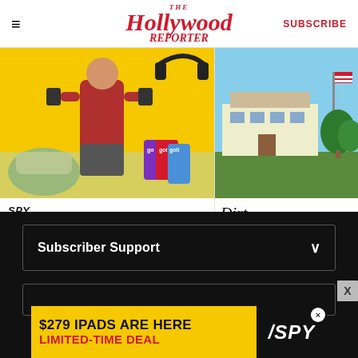The Hollywood Reporter | SUBSCRIBE
[Figure (photo): Article card image: man in red shirt holding dumbbells on yellow background with fitness equipment and Goli product cans]
SPY
Amazon Brought Back All Its Best Deals Today — Like Prime Day Part 2
5 HOURS AGO
[Figure (photo): Article card image: outdoor photo of building with American flag and green trees]
Dirt
Yankee Ca... Of-A-Kind C...
2 HOURS AGO
Subscriber Support
[Figure (infographic): Advertisement banner: '$279 IPADS ARE HERE LIMITED-TIME DEAL' with SPY logo on black/yellow background]